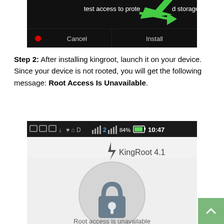[Figure (screenshot): Android app install dialog (dark background) showing 'test access to protected storage' with a green arrow pointing right, Cancel and Install buttons at the bottom, red dot next to Cancel]
Step 2: After installing kingroot, launch it on your device. Since your device is not rooted, you will get the following message: Root Access Is Unavailable.
[Figure (screenshot): KingRoot 4.1 app screenshot showing Android status bar with icons and time 10:47, 84% battery, the KingRoot 4.1 title with lightning bolt, a large circle with a padlock icon inside, and text 'Root access is unavailable' below the circle]